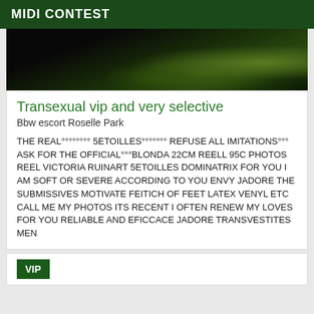MIDI CONTEST
[Figure (photo): Dark nature/foliage photo with green highlights on right side]
Transexual vip and very selective
Bbw escort Roselle Park
THE REAL°°°°°°°° 5ETOILLES°°°°°°° REFUSE ALL IMITATIONS°°° ASK FOR THE OFFICIAL°°°BLONDA 22CM REELL 95C PHOTOS REEL VICTORIA RUINART 5ETOILLES DOMINATRIX FOR YOU I AM SOFT OR SEVERE ACCORDING TO YOU ENVY JADORE THE SUBMISSIVES MOTIVATE FEITICH OF FEET LATEX VENYL ETC CALL ME MY PHOTOS ITS RECENT I OFTEN RENEW MY LOVES FOR YOU RELIABLE AND EFICCACE JADORE TRANSVESTITES MEN
VIP